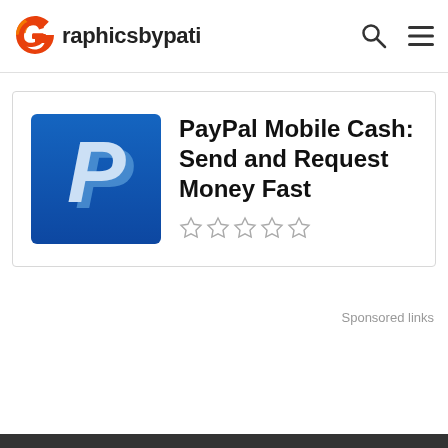Graphicsbypati
[Figure (screenshot): PayPal app card with PayPal logo icon, title 'PayPal Mobile Cash: Send and Request Money Fast', and 5 empty star ratings]
PayPal Mobile Cash: Send and Request Money Fast
Sponsored links